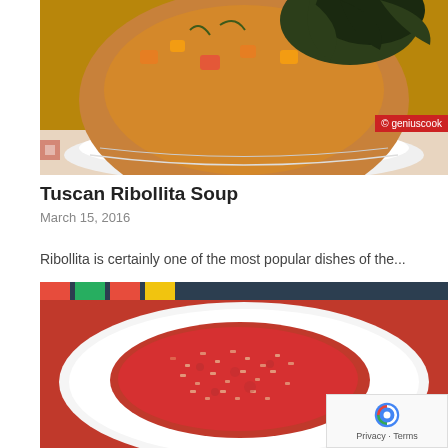[Figure (photo): Close-up photo of Tuscan Ribollita soup in a white decorative bowl, showing vegetables, kale, and orange broth with a red geniuscook copyright watermark]
Tuscan Ribollita Soup
March 15, 2016
Ribollita is certainly one of the most popular dishes of the...
[Figure (photo): Close-up photo of a pasta dish with thick tomato sauce served on a white plate, with a reCAPTCHA badge in the bottom right corner showing Privacy and Terms links]